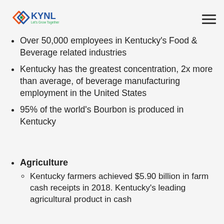KYNL - Let's Grow Together
Over 50,000 employees in Kentucky's Food & Beverage related industries
Kentucky has the greatest concentration, 2x more than average, of beverage manufacturing employment in the United States
95% of the world's Bourbon is produced in Kentucky
Agriculture
Kentucky farmers achieved $5.90 billion in farm cash receipts in 2018. Kentucky's leading agricultural product in cash